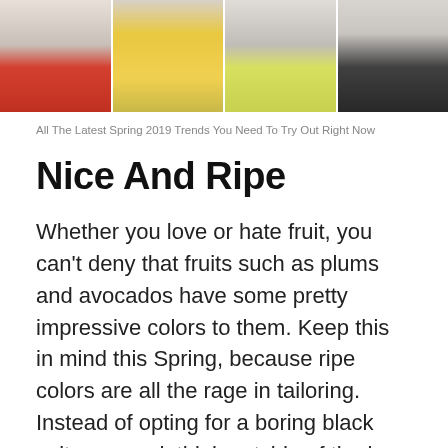[Figure (photo): Four fashion runway photos cropped to show shoes and lower legs/outfits: red strappy heels with red flower decoration on white/grey background; yellow dress with nude heels; lime yellow pointed heels; black shoes with feathered accessory]
All The Latest Spring 2019 Trends You Need To Try Out Right Now
Nice And Ripe
Whether you love or hate fruit, you can't deny that fruits such as plums and avocados have some pretty impressive colors to them. Keep this in mind this Spring, because ripe colors are all the rage in tailoring. Instead of opting for a boring black suit or co-ord, think outside of the box and try on a beautiful lime color, a pop of tangerine, or even something a bit more